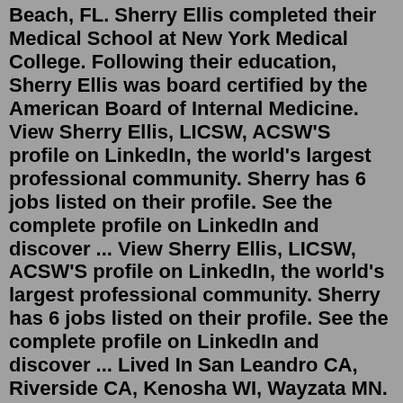Beach, FL. Sherry Ellis completed their Medical School at New York Medical College. Following their education, Sherry Ellis was board certified by the American Board of Internal Medicine. View Sherry Ellis, LICSW, ACSW'S profile on LinkedIn, the world's largest professional community. Sherry has 6 jobs listed on their profile. See the complete profile on LinkedIn and discover ... View Sherry Ellis, LICSW, ACSW'S profile on LinkedIn, the world's largest professional community. Sherry has 6 jobs listed on their profile. See the complete profile on LinkedIn and discover ... Lived In San Leandro CA, Riverside CA, Kenosha WI, Wayzata MN. Related To Darlene Ellis, Sytara Ellis, Daniel Ellis, Wesley Ellis, David Ellis. Also known as Sherry Ellis Seymour, Sherry Ellisseymour, Sherri Ellis. Includes Address (9) Phone (6) Email (4) See Results. Sherry Michelle Ellis, 47. Sherry Ellis is Chief Operating Officer at Spectrum Health Systems Inc. See Sherry Ellis's compensation, career history, education, & memberships.Sherry Ellis plays and teaches violin, viola, and piano. She